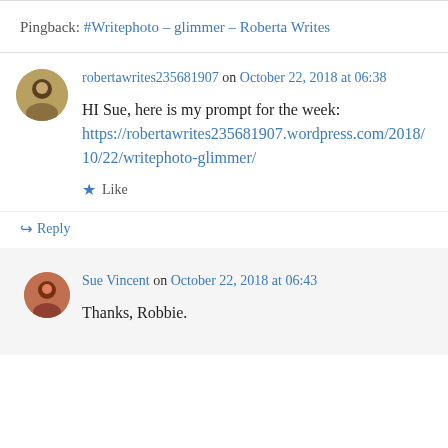Pingback: #Writephoto – glimmer – Roberta Writes
robertawrites235681907 on October 22, 2018 at 06:38
HI Sue, here is my prompt for the week: https://robertawrites235681907.wordpress.com/2018/10/22/writephoto-glimmer/
Like
Reply
Sue Vincent on October 22, 2018 at 06:43
Thanks, Robbie.